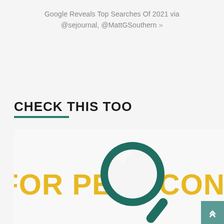Google Reveals Top Searches Of 2021 via @sejournal, @MattGSouthern »
CHECK THIS TOO
[Figure (illustration): A magnifying glass icon in teal/dark green overlaid on bold yellow text reading 'FOR PEST CONTR' (partially visible), on a white background. The image is associated with pest control content.]
Selecting the Best Method of Pest Control
January 9, 2022